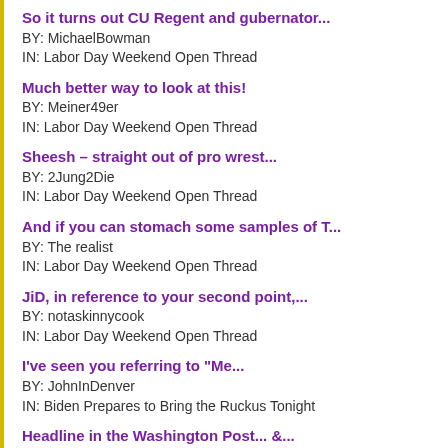So it turns out CU Regent and gubernator...
BY: MichaelBowman
IN: Labor Day Weekend Open Thread
Much better way to look at this!
BY: Meiner49er
IN: Labor Day Weekend Open Thread
Sheesh – straight out of pro wrest...
BY: 2Jung2Die
IN: Labor Day Weekend Open Thread
And if you can stomach some samples of T...
BY: The realist
IN: Labor Day Weekend Open Thread
JiD, in reference to your second point,...
BY: notaskinnycook
IN: Labor Day Weekend Open Thread
I've seen you referring to "Me...
BY: JohnInDenver
IN: Biden Prepares to Bring the Ruckus Tonight
Headline in the Washington Post... &...